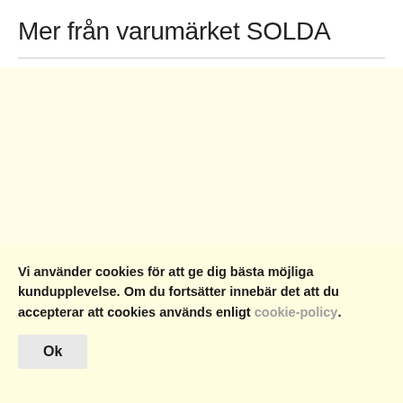Mer från varumärket SOLDA
Vi använder cookies för att ge dig bästa möjliga kundupplevelse. Om du fortsätter innebär det att du accepterar att cookies används enligt cookie-policy.
Ok